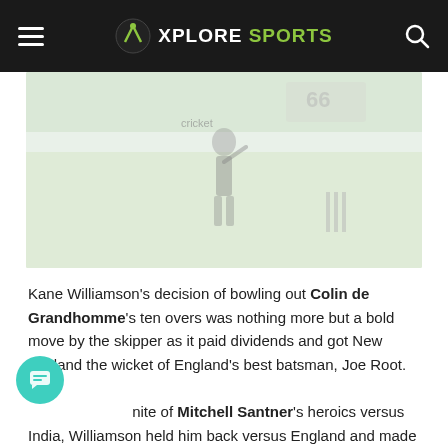XPLORE SPORTS
[Figure (photo): Cricket player bowling on a cricket pitch with crowd in background]
Kane Williamson's decision of bowling out Colin de Grandhomme's ten overs was nothing more but a bold move by the skipper as it paid dividends and got New Zealand the wicket of England's best batsman, Joe Root.
In spite of Mitchell Santner's heroics versus India, Williamson held him back versus England and made him